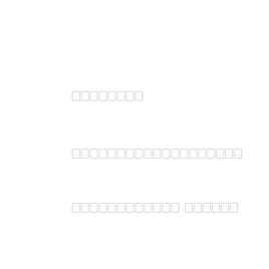▯▯▯▯▯▯▯▯
▯▯▯▯▯▯▯▯▯▯▯▯▯▯▯▯▯▯▯
▯▯▯▯▯▯▯▯▯▯▯▯ ▯▯▯▯▯▯